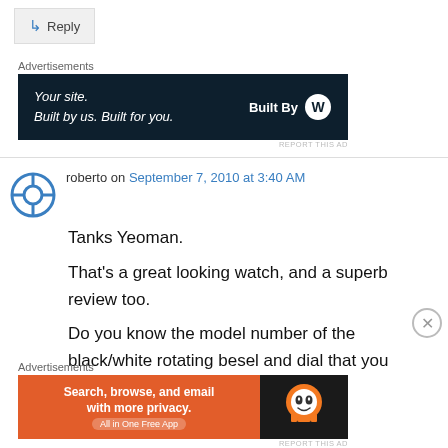↳ Reply
Advertisements
[Figure (screenshot): WordPress.com advertisement banner: 'Your site. Built by us. Built for you.' with Built By WordPress logo on dark navy background]
roberto on September 7, 2010 at 3:40 AM
Tanks Yeoman.
That's a great looking watch, and a superb review too.
Do you know the model number of the black/white rotating besel and dial that you
Advertisements
[Figure (screenshot): DuckDuckGo advertisement banner: 'Search, browse, and email with more privacy. All in One Free App' on orange background with DuckDuckGo logo on dark background]